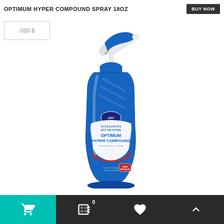OPTIMUM HYPER COMPOUND SPRAY 18OZ
[Figure (photo): Product photo of Optimum Hyper Compound Spray bottle (18oz), blue spray bottle with trigger sprayer, label reads ACCELERATE INTO THE FUTURE OPTIMUM HYPER COMPOUND, Paint Perfection as a Spray, with image of car being polished]
Cart icon | Shopping basket with 0 badge | Heart/favorite icon | Up/top arrow icon